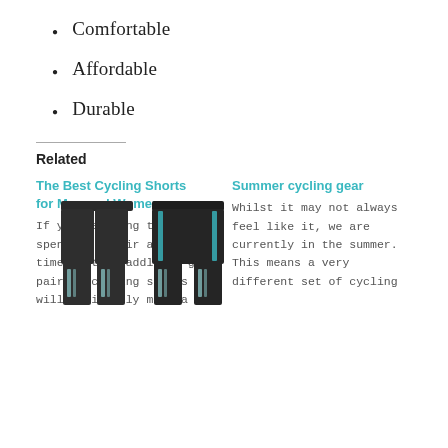Comfortable
Affordable
Durable
Related
The Best Cycling Shorts for Men and Women
If you're going to be spending a fair amount of time in the saddle, a good pair of cycling shorts will definitely make a big
Summer cycling gear
Whilst it may not always feel like it, we are currently in the summer. This means a very different set of cycling
[Figure (photo): Two pairs of dark cycling pants/tights shown side by side]